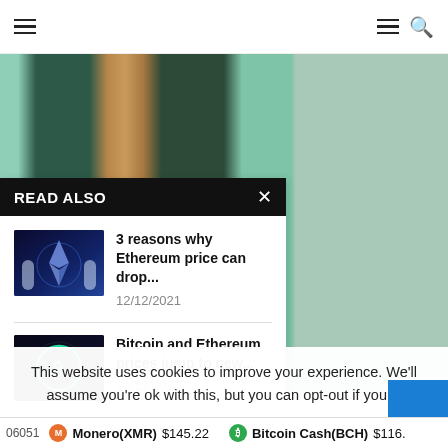☰  ☰ 🔍
[Figure (photo): Abstract colorful vertical stripes background with green, dark green, tan/gold, and mint colors]
READ ALSO
[Figure (photo): Two figures in white suits with Ethereum logo glowing blue in background]
3 reasons why Ethereum price can drop...
12/12/2021
[Figure (photo): Bitcoin logo circle in neon blue/green on dark background]
Bitcoin and Ethereum prices jump to new...
09/11/2021
This website uses cookies to improve your experience. We'll assume you're ok with this, but you can opt-out if you w
06051   Monero(XMR) $145.22   Bitcoin Cash(BCH) $116.